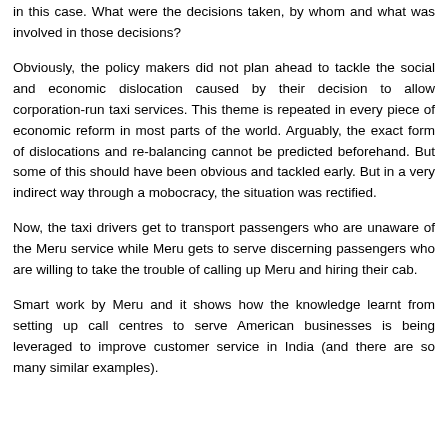in this case. What were the decisions taken, by whom and what was involved in those decisions?
Obviously, the policy makers did not plan ahead to tackle the social and economic dislocation caused by their decision to allow corporation-run taxi services. This theme is repeated in every piece of economic reform in most parts of the world. Arguably, the exact form of dislocations and re-balancing cannot be predicted beforehand. But some of this should have been obvious and tackled early. But in a very indirect way through a mobocracy, the situation was rectified.
Now, the taxi drivers get to transport passengers who are unaware of the Meru service while Meru gets to serve discerning passengers who are willing to take the trouble of calling up Meru and hiring their cab.
Smart work by Meru and it shows how the knowledge learnt from setting up call centres to serve American businesses is being leveraged to improve customer service in India (and there are so many similar examples).